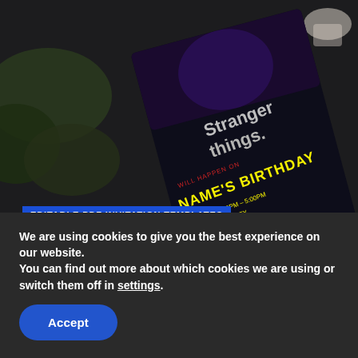[Figure (photo): A Stranger Things themed birthday party invitation card on a dark background with stylized text reading 'Stranger Things', 'Will Happen On', 'NAME'S BIRTHDAY', date and address details in yellow and red lettering]
EDITABLE PDF INVITATION TEMPLATES
(Free Editable PDF) Awesome Stranger Things Sleepover Birthday Invitation Templates
The 80s were such a fun decade! Until Strange things began to happen... Throw a Stranger Things party to commemorate...
AUGUST 14, 2022
We are using cookies to give you the best experience on our website.
You can find out more about which cookies we are using or switch them off in settings.
Accept